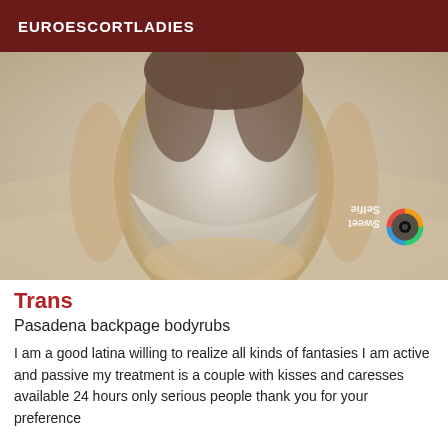EUROESCORTLADIES
[Figure (photo): A person photographed from the torso down, wearing light-colored clothing, with a Sweet Selfie app watermark in the lower right corner of the image (mirrored).]
Trans
Pasadena backpage bodyrubs
I am a good latina willing to realize all kinds of fantasies I am active and passive my treatment is a couple with kisses and caresses available 24 hours only serious people thank you for your preference